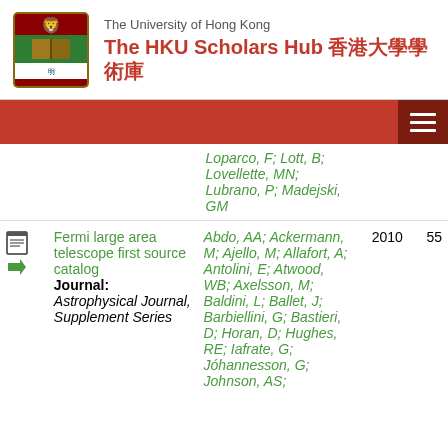The University of Hong Kong — The HKU Scholars Hub 香港大學學術庫
|  | Title/Journal | Authors | Year | Citations |
| --- | --- | --- | --- | --- |
|  | Loparco, F; Lott, B; Lovellette, MN; Lubrano, P; Madejski, GM |  |  |  |
| [icon] | Fermi large area telescope first source catalog
Journal: Astrophysical Journal, Supplement Series | Abdo, AA; Ackermann, M; Ajello, M; Allafort, A; Antolini, E; Atwood, WB; Axelsson, M; Baldini, L; Ballet, J; Barbiellini, G; Bastieri, D; Horan, D; Hughes, RE; Iafrate, G; Jóhannesson, G; Johnson, AS; | 2010 | 55 |